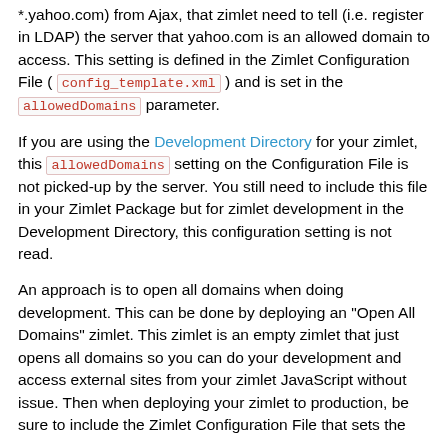*.yahoo.com) from Ajax, that zimlet need to tell (i.e. register in LDAP) the server that yahoo.com is an allowed domain to access. This setting is defined in the Zimlet Configuration File ( config_template.xml ) and is set in the allowedDomains parameter.
If you are using the Development Directory for your zimlet, this allowedDomains setting on the Configuration File is not picked-up by the server. You still need to include this file in your Zimlet Package but for zimlet development in the Development Directory, this configuration setting is not read.
An approach is to open all domains when doing development. This can be done by deploying an "Open All Domains" zimlet. This zimlet is an empty zimlet that just opens all domains so you can do your development and access external sites from your zimlet JavaScript without issue. Then when deploying your zimlet to production, be sure to include the Zimlet Configuration File that sets the